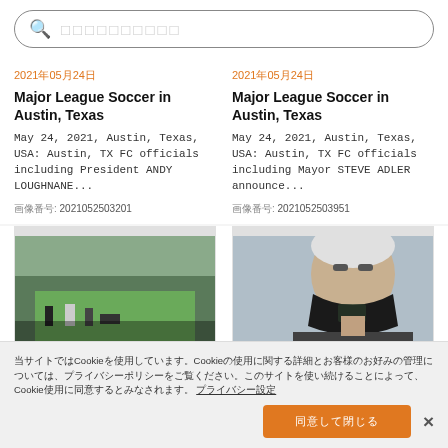🔍 □□□□□□□□□□ (search bar placeholder)
2021年05月24日
Major League Soccer in Austin, Texas
May 24, 2021, Austin, Texas, USA: Austin, TX FC officials including President ANDY LOUGHNANE...
画像番号: 2021052503201
2021年05月24日
Major League Soccer in Austin, Texas
May 24, 2021, Austin, Texas, USA: Austin, TX FC officials including Mayor STEVE ADLER announce...
画像番号: 2021052503951
[Figure (photo): Stadium interior photo with people at a press conference]
[Figure (photo): Close-up of man with white hair wearing a black face mask]
当サイトではCookieを使用しています。Cookieの使用に関する詳細とお客様のお好みの管理については、プライバシーポリシーをご覧ください。このサイトを使い続けることによって、Cookie使用に同意するとみなされます。 プライバシー設定
同意して閉じる